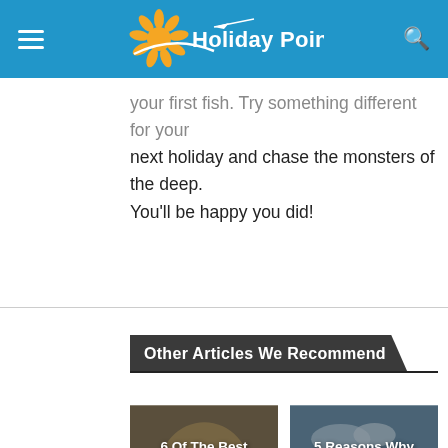Holiday Point
your first fish. Try something different for your next holiday and chase the monsters of the deep. You'll be happy you did!
Other Articles We Recommend
[Figure (photo): Card showing food/snacks in jars with text: 6 Of The Best Road-Trip Snacks For Travellers In Australia]
[Figure (photo): Card showing a truck/vehicle in Western Australia with text: 5 Reasons Why Western Australia Should Be On Your Bucketlist]